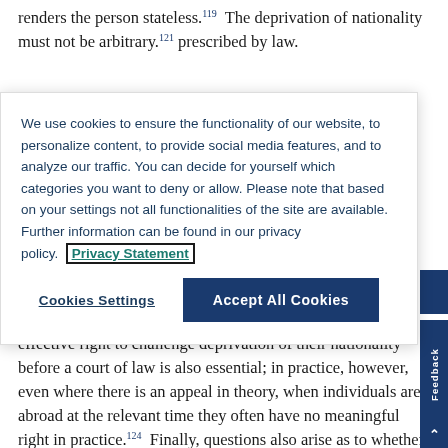renders the person stateless. ¹¹⁹ The deprivation of nationality must not be arbitrary.¹²¹ prescribed by law.
We use cookies to ensure the functionality of our website, to personalize content, to provide social media features, and to analyze our traffic. You can decide for yourself which categories you want to deny or allow. Please note that based on your settings not all functionalities of the site are available. Further information can be found in our privacy policy. Privacy Statement
Cookies Settings | Accept All Cookies
legal tests required by human rights law. A practical and effective right to challenge deprivation of their nationality before a court of law is also essential; in practice, however, even where there is an appeal in theory, when individuals are abroad at the relevant time they often have no meaningful right in practice.¹²⁴ Finally, questions also arise as to whether deprivation of nationality is discriminatory, in law or